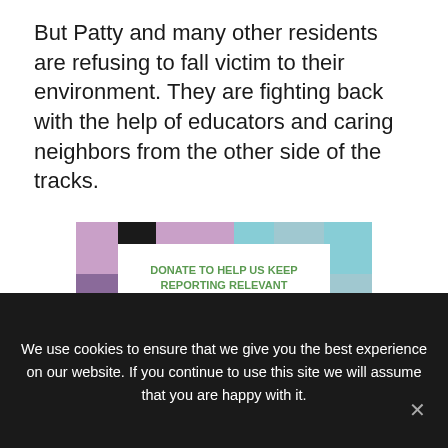But Patty and many other residents are refusing to fall victim to their environment. They are fighting back with the help of educators and caring neighbors from the other side of the tracks.
[Figure (other): Advertisement image with colorful block border (purple, teal, black patches) surrounding a white card. Card contains green bold text: 'DONATE TO HELP US KEEP REPORTING RELEVANT NEIGHBORHOOD NEWS' and the NTX Giving Day logo from Communities Foundation of Texas.]
We use cookies to ensure that we give you the best experience on our website. If you continue to use this site we will assume that you are happy with it.